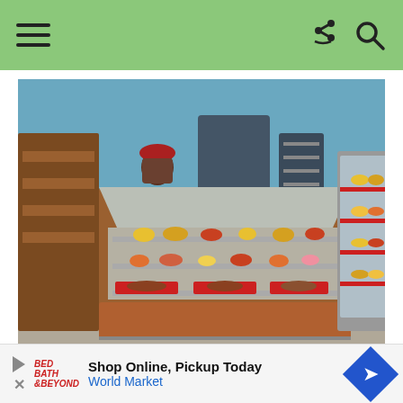Navigation bar with hamburger menu, share icon, and search icon
[Figure (photo): Interior of a bakery or deli with glass display cases filled with pastries and food items. A worker in a red cap is visible in the background near kitchen equipment. Two large refrigerated display cases are visible, filled with colorful pastries and foods on multiple shelves.]
The Asian Noodle salad is made with fish sauce, and the Power Salad could be modified by
Shop Online, Pickup Today World Market (advertisement)